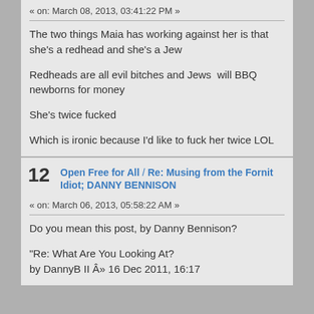« on: March 08, 2013, 03:41:22 PM »
The two things Maia has working against her is that she's a redhead and she's a Jew

Redheads are all evil bitches and Jews  will BBQ newborns for money

She's twice fucked

Which is ironic because I'd like to fuck her twice LOL
12  Open Free for All / Re: Musing from the Fornit Idiot; DANNY BENNISON
« on: March 06, 2013, 05:58:22 AM »
Do you mean this post, by Danny Bennison?

"Re: What Are You Looking At?
by DannyB II Â» 16 Dec 2011, 16:17